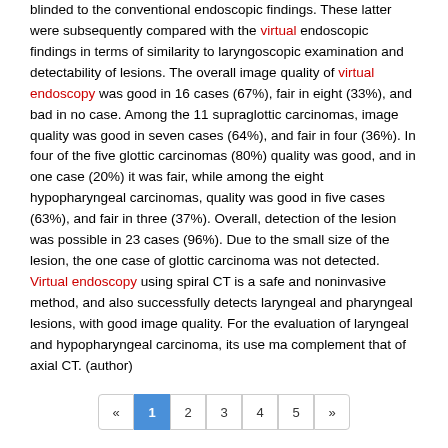blinded to the conventional endoscopic findings. These latter were subsequently compared with the virtual endoscopic findings in terms of similarity to laryngoscopic examination and detectability of lesions. The overall image quality of virtual endoscopy was good in 16 cases (67%), fair in eight (33%), and bad in no case. Among the 11 supraglottic carcinomas, image quality was good in seven cases (64%), and fair in four (36%). In four of the five glottic carcinomas (80%) quality was good, and in one case (20%) it was fair, while among the eight hypopharyngeal carcinomas, quality was good in five cases (63%), and fair in three (37%). Overall, detection of the lesion was possible in 23 cases (96%). Due to the small size of the lesion, the one case of glottic carcinoma was not detected. Virtual endoscopy using spiral CT is a safe and noninvasive method, and also successfully detects laryngeal and pharyngeal lesions, with good image quality. For the evaluation of laryngeal and hypopharyngeal carcinoma, its use ma complement that of axial CT. (author)
« 1 2 3 4 5 »